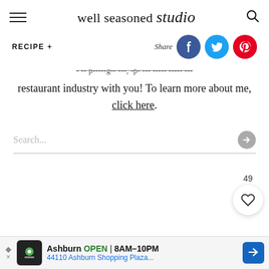well seasoned studio
RECIPE +
Share
restaurant industry with you! To learn more about me, click here.
Search...
49
[Figure (other): Advertisement banner: Ashburn OPEN 8AM-10PM, 44110 Ashburn Shopping Plaza...]